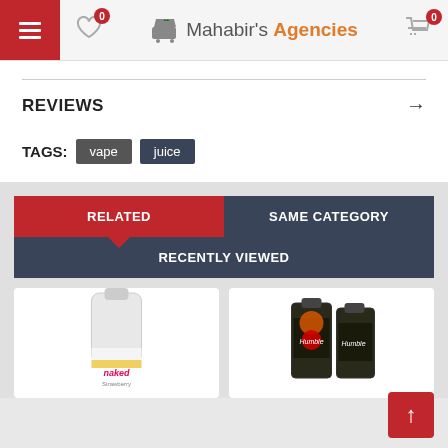Mahabir's Agencies — navigation header with menu, wishlist (0), logo, and cart (0)
REVIEWS
TAGS: vape juice
RELATED | SAME CATEGORY | RECENTLY VIEWED
[Figure (photo): Product image of Naked e-liquid bottle]
[Figure (photo): Product image of Humble e-liquid bottles]